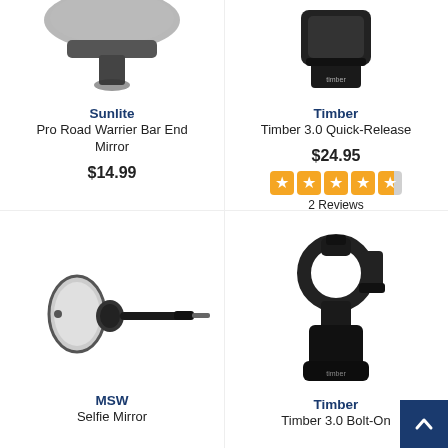[Figure (photo): Sunlite Pro Road Warrier Bar End Mirror product photo - partial view of mirror from above]
Sunlite
Pro Road Warrier Bar End Mirror
$14.99
[Figure (photo): Timber 3.0 Quick-Release product photo - black device on stand with Timber logo]
Timber
Timber 3.0 Quick-Release
$24.95
[Figure (infographic): Star rating: 4.5 out of 5 stars in orange boxes]
2 Reviews
[Figure (photo): MSW Selfie Mirror product photo - small bar-end mirror with black adjustable arm]
MSW
Selfie Mirror
[Figure (photo): Timber 3.0 Bolt-On product photo - black handlebar mount with clamp ring and stand]
Timber
Timber 3.0 Bolt-On